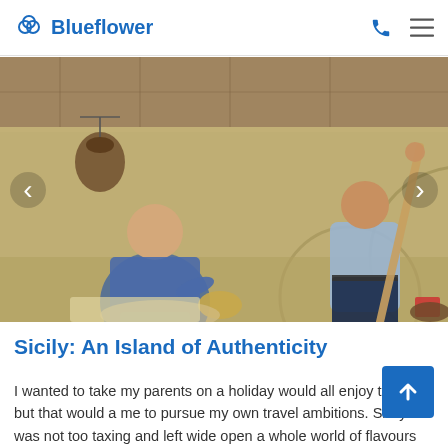Blueflower
[Figure (photo): Two men in a rustic interior. Left man is seated, wearing a blue checked shirt, holding grain or wheat. Right man is standing, wearing a light blue shirt and dark trousers, holding a long wooden pole/staff. Background shows stone wall and decorative painted wall.]
Sicily: An Island of Authenticity
I wanted to take my parents on a holiday would all enjoy together but that would a me to pursue my own travel ambitions. Sicily was not too taxing and left wide open a whole world of flavours and delicacies to discover...